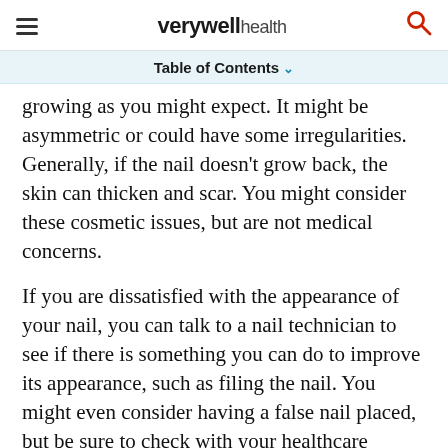verywell health
Table of Contents
growing as you might expect. It might be asymmetric or could have some irregularities. Generally, if the nail doesn't grow back, the skin can thicken and scar. You might consider these cosmetic issues, but are not medical concerns.

If you are dissatisfied with the appearance of your nail, you can talk to a nail technician to see if there is something you can do to improve its appearance, such as filing the nail. You might even consider having a false nail placed, but be sure to check with your healthcare provider first.
[Figure (other): Dotdash Meredith advertisement banner: 'We help people find answers, solve problems and get inspired.' with Dotdash Meredith logo.]